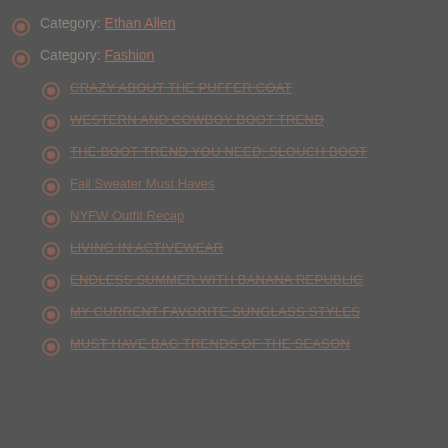Category: Ethan Allen
Category: Fashion
CRAZY ABOUT THE PUFFER COAT
WESTERN AND COWBOY BOOT TREND
THE BOOT TREND YOU NEED: SLOUCH BOOT
Fall Sweater Must Haves
NYFW Outfit Recap
LIVING IN ACTIVEWEAR
ENDLESS SUMMER WITH BANANA REPUBLIC
MY CURRENT FAVORITE SUNGLASS STYLES
MUST HAVE BAG TRENDS OF THE SEASON